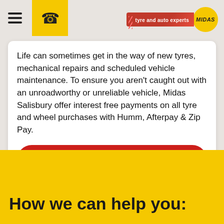[Figure (logo): Midas tyre and auto experts logo with yellow circle and red tagline banner in top navigation bar]
Life can sometimes get in the way of new tyres, mechanical repairs and scheduled vehicle maintenance. To ensure you aren't caught out with an unroadworthy or unreliable vehicle, Midas Salisbury offer interest free payments on all tyre and wheel purchases with Humm, Afterpay & Zip Pay.
FIND OUT MORE
How we can help you: